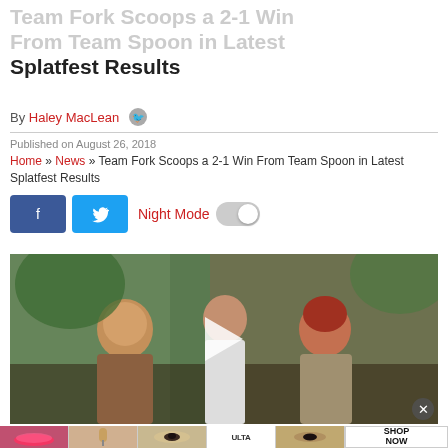Team Fork Scoops a 2-1 Win From Team Spoon in Latest Splatfest Results
By Haley MacLean
Published on August 26, 2018
Home » News » Team Fork Scoops a 2-1 Win From Team Spoon in Latest Splatfest Results
[Figure (screenshot): Social sharing buttons: Facebook (dark blue) and Twitter (light blue), followed by Night Mode toggle label in red and a grey toggle switch]
[Figure (screenshot): Video thumbnail showing game characters in a scene with a play button overlay, and an advertisement banner at the bottom showing beauty/cosmetics products and ULTA logo with SHOP NOW button]